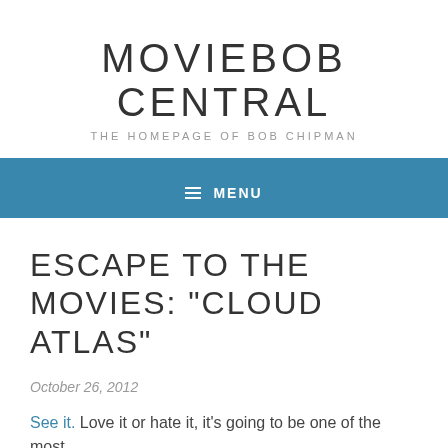MOVIEBOB CENTRAL
THE HOMEPAGE OF BOB CHIPMAN
≡ MENU
ESCAPE TO THE MOVIES: "CLOUD ATLAS"
October 26, 2012
See it. Love it or hate it, it's going to be one of the most